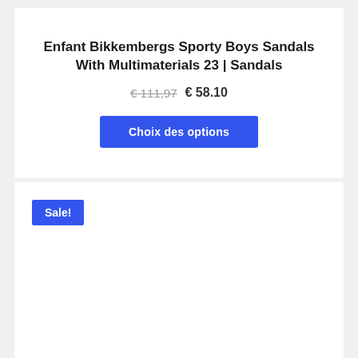Enfant Bikkembergs Sporty Boys Sandals With Multimaterials 23 | Sandals
€ 111,97  € 58.10
Choix des options
Sale!